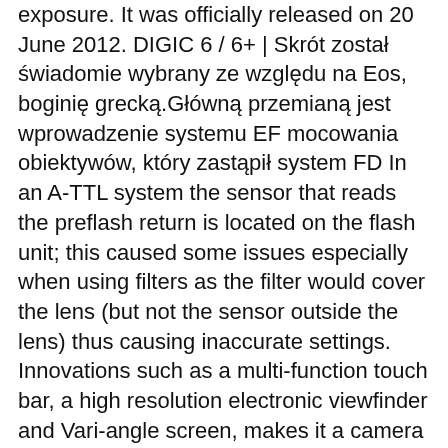exposure. It was officially released on 20 June 2012. DIGIC 6 / 6+ | Skrót został świadomie wybrany ze względu na Eos, boginię grecką.Główną przemianą jest wprowadzenie systemu EF mocowania obiektywów, który zastąpił system FD In an A-TTL system the sensor that reads the preflash return is located on the flash unit; this caused some issues especially when using filters as the filter would cover the lens (but not the sensor outside the lens) thus causing inaccurate settings. Innovations such as a multi-function touch bar, a high resolution electronic viewfinder and Vari-angle screen, makes it a camera designed to perform effortlessly and intuitively. A-TTL, first seen on the T90 (which predates the EOS family), is a flash exposure system that adds a brief preflash during exposure metering when the camera is in the programmed exposure (P) mode. battery and memory card), This page was last edited on 22 November 2020, at 13:53. It used two lamps to project horizontal and vertical patterns, which matched the line sensitivity of the autofocus sensors used in those autofocus layouts. (It was not sold in the